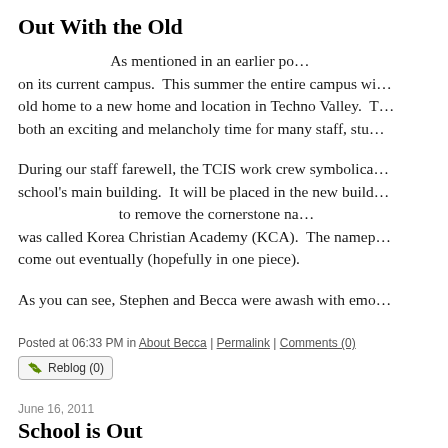Out With the Old
As mentioned in an earlier po… on its current campus.  This summer the entire campus wi… old home to a new home and location in Techno Valley.  T… both an exciting and melancholy time for many staff, stu…
During our staff farewell, the TCIS work crew symbolica… school's main building.  It will be placed in the new build… to remove the cornerstone na… was called Korea Christian Academy (KCA).  The namep… come out eventually (hopefully in one piece).
As you can see, Stephen and Becca were awash with emo…
Posted at 06:33 PM in About Becca | Permalink | Comments (0)
Reblog (0)
June 16, 2011
School is Out